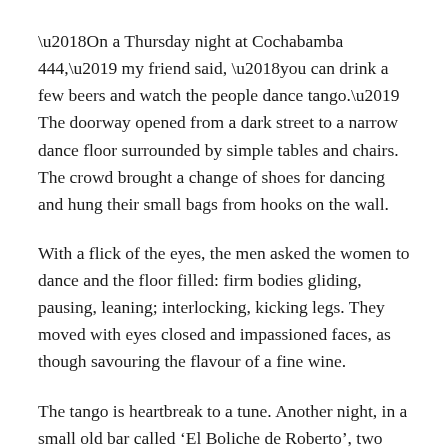‘On a Thursday night at Cochabamba 444,’ my friend said, ‘you can drink a few beers and watch the people dance tango.’ The doorway opened from a dark street to a narrow dance floor surrounded by simple tables and chairs. The crowd brought a change of shoes for dancing and hung their small bags from hooks on the wall.
With a flick of the eyes, the men asked the women to dance and the floor filled: firm bodies gliding, pausing, leaning; interlocking, kicking legs. They moved with eyes closed and impassioned faces, as though savouring the flavour of a fine wine.
The tango is heartbreak to a tune. Another night, in a small old bar called ‘El Boliche de Roberto’, two silver-haired tango singers played as a storm came down heavily outside. High up on the walls, the wooden shelves were stocked with antique